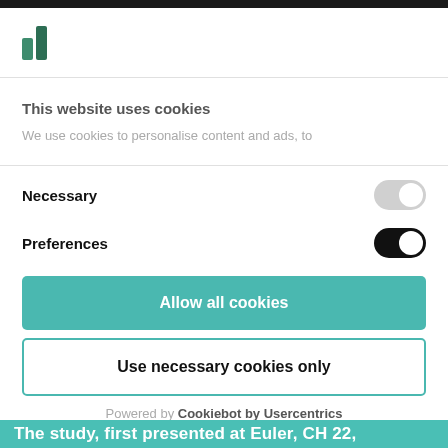[Figure (logo): Green icon with two rectangular bars resembling a stylized letter P or bookmark]
This website uses cookies
We use cookies to personalise content and ads, to
Necessary
Preferences
Allow all cookies
Use necessary cookies only
Powered by Cookiebot by Usercentrics
The study, first presented at Euler, CH 22,